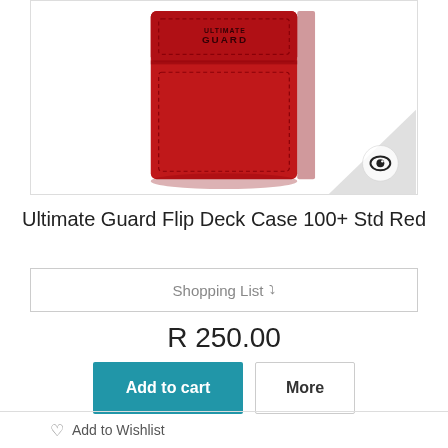[Figure (photo): Red Ultimate Guard Flip Deck Case 100+ product photo on white background with eye/view icon in bottom-right corner]
Ultimate Guard Flip Deck Case 100+ Std Red
Shopping List ▾
R 250.00
Add to cart
More
In Stock
♡  Add to Wishlist